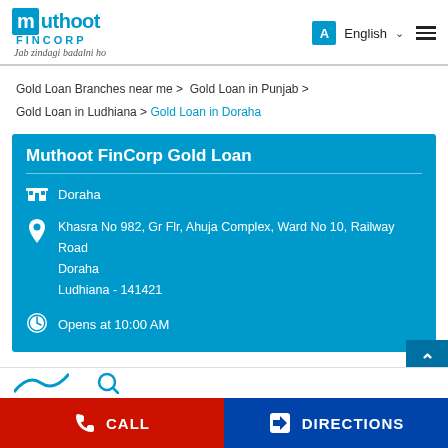Muthoot Fincorp | Jab zindagi badalni ho | English
Gold Loan Branches near me > Gold Loan in Punjab > Gold Loan in Ludhiana > Gold Loan in Doraha
Muthoot FinCorp Gold Loan
Doraha
Khasra No 982, Gr Flr, Ahuja Complex, Ward No 10, Railway Road
Doraha
Ludhiana - 141421
Opens at 10:00 AM
CALL | DIRECTIONS